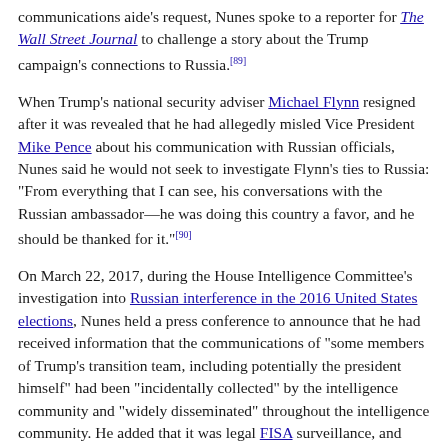communications aide's request, Nunes spoke to a reporter for The Wall Street Journal to challenge a story about the Trump campaign's connections to Russia.[89]
When Trump's national security adviser Michael Flynn resigned after it was revealed that he had allegedly misled Vice President Mike Pence about his communication with Russian officials, Nunes said he would not seek to investigate Flynn's ties to Russia: "From everything that I can see, his conversations with the Russian ambassador—he was doing this country a favor, and he should be thanked for it."[90]
On March 22, 2017, during the House Intelligence Committee's investigation into Russian interference in the 2016 United States elections, Nunes held a press conference to announce that he had received information that the communications of "some members of Trump's transition team, including potentially the president himself" had been "incidentally collected" by the intelligence community and "widely disseminated" throughout the intelligence community. He added that it was legal FISA surveillance, and unrelated to Russia.[91] It was later revealed that it involved Russia and the Trump transition team. The surveillance was of multiple phone conversations between Michael Flynn, a member of the transition team, and Russian Ambassador Sergey Kislyak, which